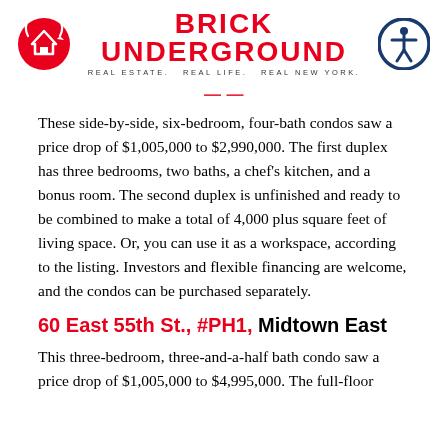BRICK UNDERGROUND — REAL ESTATE. REAL LIFE. REAL NEW YORK.
These side-by-side, six-bedroom, four-bath condos saw a price drop of $1,005,000 to $2,990,000. The first duplex has three bedrooms, two baths, a chef's kitchen, and a bonus room. The second duplex is unfinished and ready to be combined to make a total of 4,000 plus square feet of living space. Or, you can use it as a workspace, according to the listing. Investors and flexible financing are welcome, and the condos can be purchased separately.
60 East 55th St., #PH1, Midtown East
This three-bedroom, three-and-a-half bath condo saw a price drop of $1,005,000 to $4,995,000. The full-floor